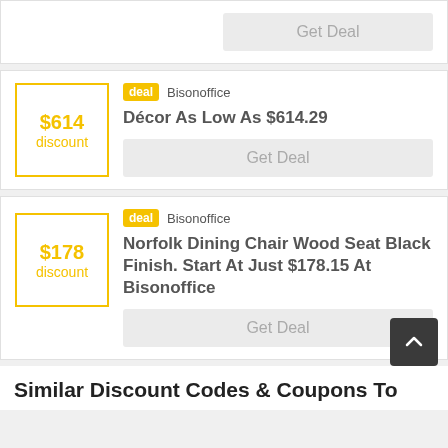Get Deal
[Figure (other): Deal card with $614 discount box, Bisonoffice store badge, and 'Décor As Low As $614.29' title with Get Deal button]
deal Bisonoffice
Décor As Low As $614.29
Get Deal
[Figure (other): Deal card with $178 discount box, Bisonoffice store badge, and 'Norfolk Dining Chair Wood Seat Black Finish. Start At Just $178.15 At Bisonoffice' title with Get Deal button]
deal Bisonoffice
Norfolk Dining Chair Wood Seat Black Finish. Start At Just $178.15 At Bisonoffice
Get Deal
Similar Discount Codes & Coupons To